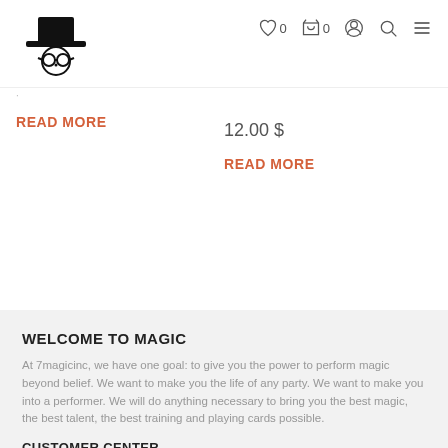Logo | heart 0 | cart 0 | user | search | menu
READ MORE
12.00 $
READ MORE
WELCOME TO MAGIC
At 7magicinc, we have one goal: to give you the power to perform magic beyond belief. We want to make you the life of any party. We want to make you into a performer. We will do anything necessary to bring you the best magic, the best talent, the best training and playing cards possible.
CUSTOMER CENTER
+84 094 871 879